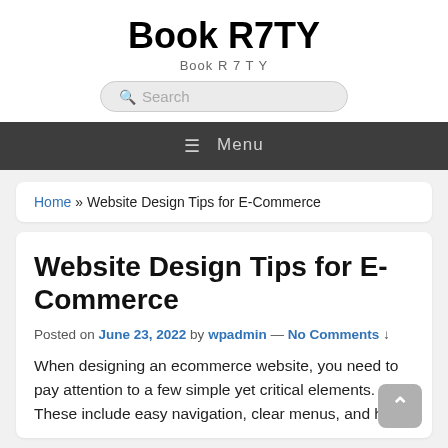Book R7TY
Book R 7 T Y
Search
Menu
Home » Website Design Tips for E-Commerce
Website Design Tips for E-Commerce
Posted on June 23, 2022 by wpadmin — No Comments ↓
When designing an ecommerce website, you need to pay attention to a few simple yet critical elements. These include easy navigation, clear menus, and high-